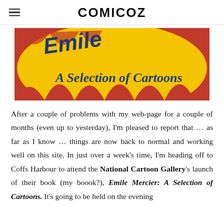COMICOZ
[Figure (illustration): Book cover showing 'A Selection of Cartoons' text in blue italic letters on a yellow background with red flame-like shapes. Partial view of a name above.]
After a couple of problems with my web-page for a couple of months (even up to yesterday), I'm pleased to report that … as far as I know … things are now back to normal and working well on this site. In just over a week's time, I'm heading off to Coffs Harbour to attend the National Cartoon Gallery's launch of their book (my boook?), Emile Mercier: A Selection of Cartoons. It's going to be held on the evening